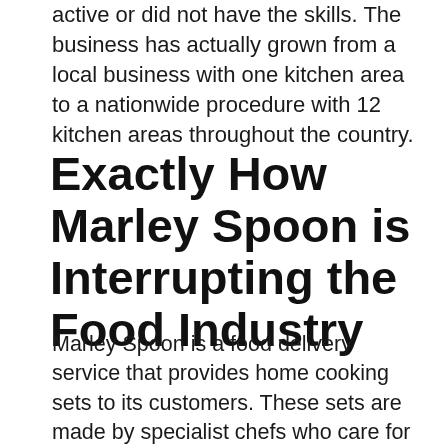active or did not have the skills. The business has actually grown from a local business with one kitchen area to a nationwide procedure with 12 kitchen areas throughout the country.
Exactly How Marley Spoon is Interrupting the Food Industry
Marley Spoon is a food delivery service that provides home cooking sets to its customers. These sets are made by specialist chefs who care for all the effort as well as allow the consumer enjoy the tasty food. Marley Spoon has interfered with the food industry by providing a convenient meal set delivery...